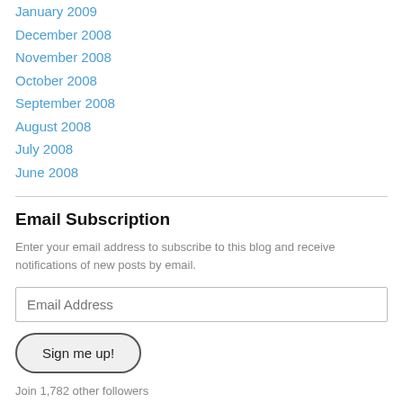January 2009
December 2008
November 2008
October 2008
September 2008
August 2008
July 2008
June 2008
Email Subscription
Enter your email address to subscribe to this blog and receive notifications of new posts by email.
Email Address
Sign me up!
Join 1,782 other followers